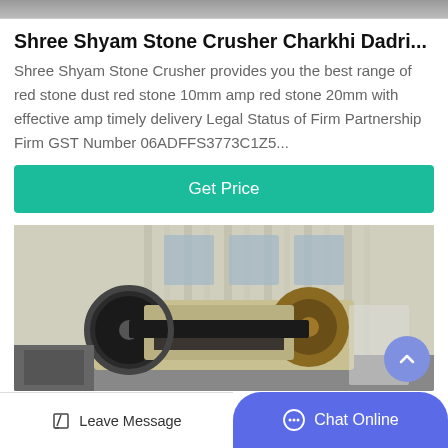[Figure (photo): Top portion of a stone crusher machine image, cropped at top]
Shree Shyam Stone Crusher Charkhi Dadri...
Shree Shyam Stone Crusher provides you the best range of red stone dust red stone 10mm amp red stone 20mm with effective amp timely delivery Legal Status of Firm Partnership Firm GST Number 06ADFFS3773C1Z5...
[Figure (photo): Industrial jaw crusher machine in a warehouse/factory setting, yellowish-green machine with large flywheels]
Leave Message  Chat Online